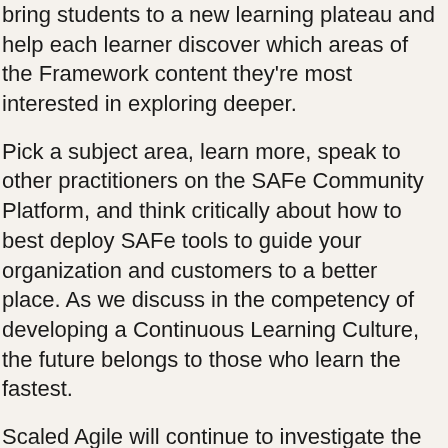bring students to a new learning plateau and help each learner discover which areas of the Framework content they're most interested in exploring deeper.
Pick a subject area, learn more, speak to other practitioners on the SAFe Community Platform, and think critically about how to best deploy SAFe tools to guide your organization and customers to a better place. As we discuss in the competency of developing a Continuous Learning Culture, the future belongs to those who learn the fastest.
Scaled Agile will continue to investigate the latest trends in the post-digital economy, and provide recommendations, toolkits, and learning to help the great organizations of the world survive and thrive with new ways of working.